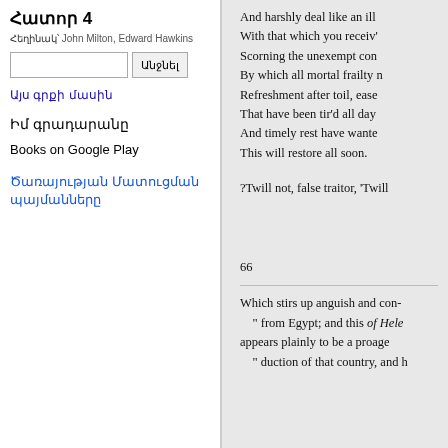Հատոր 4
Հեղինակ՝ John Milton, Edward Hawkins
Անջնել [search button]
Այս գրքի մասին
Իմ գրադարանը
Books on Google Play
Ծառայության Մատուցման պայմանները
And harshly deal like an ill
With that which you receiv'
Scorning the unexempt con
By which all mortal frailty n
Refreshment after toil, ease
That have been tir'd all day
And timely rest have wante
This will restore all soon.
?Twill not, false traitor, 'Twill
66
Which stirs up anguish and con-
" from Egypt; and this of Hele
appears plainly to be a proage
" duction of that country, and h